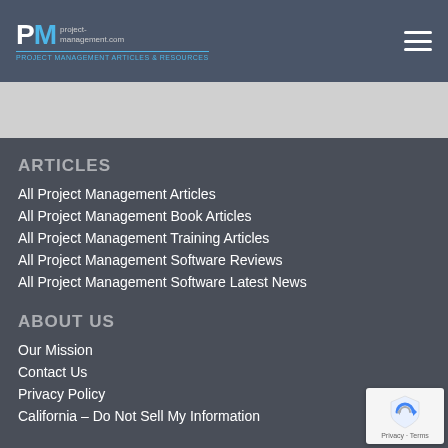PM project-management.com
ARTICLES
All Project Management Articles
All Project Management Book Articles
All Project Management Training Articles
All Project Management Software Reviews
All Project Management Software Latest News
ABOUT US
Our Mission
Contact Us
Privacy Policy
California – Do Not Sell My Information
[Figure (logo): reCAPTCHA badge with shield icon and Privacy - Terms text]